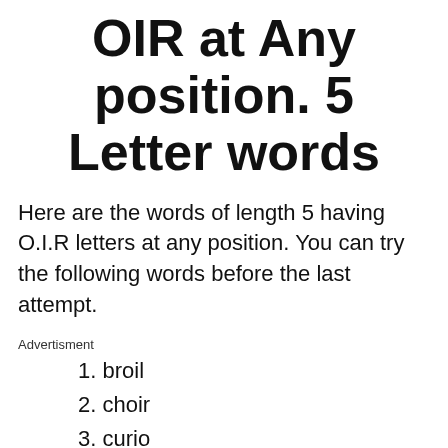OIR at Any position. 5 Letter words
Here are the words of length 5 having O.I.R letters at any position. You can try the following words before the last attempt.
Advertisment
1. broil
2. choir
3. curio
4. droit
5. groin
6. intro
7. irony
8. ivory
9. micro
10.